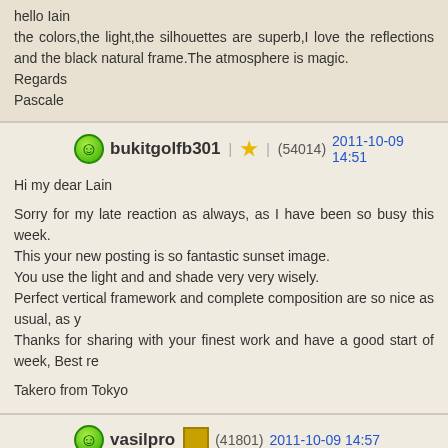hello Iain
the colors,the light,the silhouettes are superb,I love the reflections and the black natural frame.The atmosphere is magic.
Regards
Pascale
bukitgolfb301 | ★ | (54014) 2011-10-09 14:51
Hi my dear Lain

Sorry for my late reaction as always, as I have been so busy this week.
This your new posting is so fantastic sunset image.
You use the light and and shade very very wisely.
Perfect vertical framework and complete composition are so nice as usual, as y
Thanks for sharing with your finest work and have a good start of week, Best re

Takero from Tokyo
vasilpro | (41801) 2011-10-09 14:57
Hello Iain,
Wonderful composition, lovely light and reflections, beautiful color tones, excelle nice framework, TFS!
Have a nice week, Vasilis.